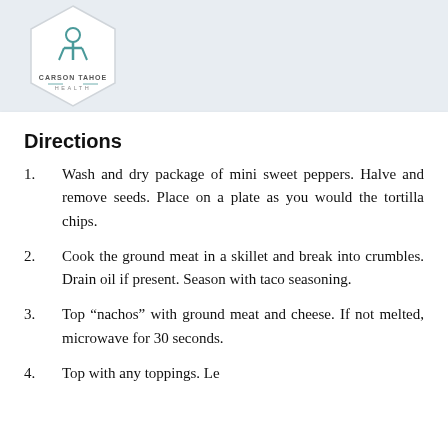[Figure (logo): Carson Tahoe Health hexagon logo with stylized icon and text 'CARSON TAHOE HEALTH']
Directions
1.    Wash and dry package of mini sweet peppers. Halve and remove seeds. Place on a plate as you would the tortilla chips.
2.      Cook the ground meat in a skillet and break into crumbles. Drain oil if present. Season with taco seasoning.
3.      Top “nachos” with ground meat and cheese. If not melted, microwave for 30 seconds.
4.      Top with any toppings. Lean back in a chair for a Good...